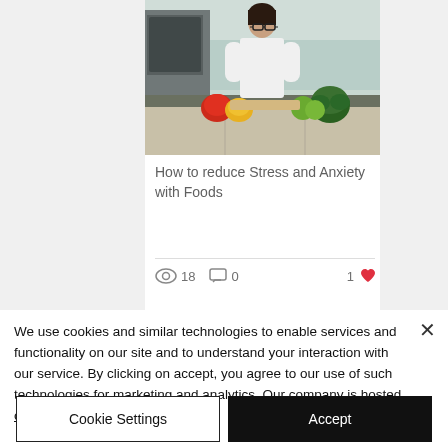[Figure (photo): Woman in white lab coat standing at kitchen counter with vegetables including red/yellow peppers, broccoli, and green apples. Kitchen background with oven and cabinets.]
How to reduce Stress and Anxiety with Foods
18 views  0 comments  1 like
We use cookies and similar technologies to enable services and functionality on our site and to understand your interaction with our service. By clicking on accept, you agree to our use of such technologies for marketing and analytics. Our company is hosted on the Wix.com pla
Cookie Settings
Accept